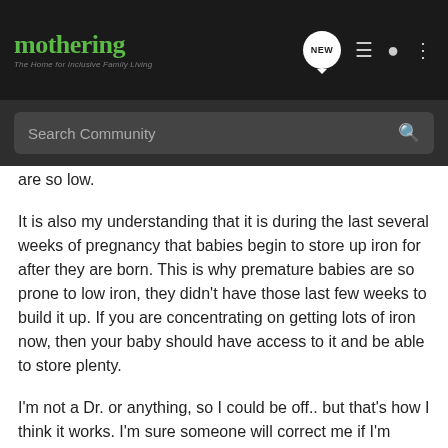mothering — The Home for Inclusive Family Living
are so low.
It is also my understanding that it is during the last several weeks of pregnancy that babies begin to store up iron for after they are born. This is why premature babies are so prone to low iron, they didn't have those last few weeks to build it up. If you are concentrating on getting lots of iron now, then your baby should have access to it and be able to store plenty.
I'm not a Dr. or anything, so I could be off.. but that's how I think it works. I'm sure someone will correct me if I'm wrong.
I hope you can get your iron levels back up, you'll need it after your baby is born! [emoji]